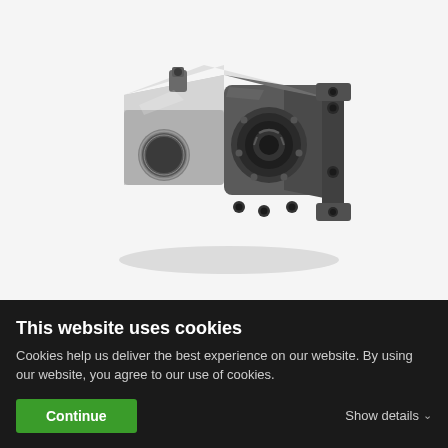[Figure (photo): Hydraulic gear pump, metal/aluminium casing, silver and dark grey finish, showing port holes and mounting flange, photographed on white background]
This website uses cookies
Cookies help us deliver the best experience on our website. By using our website, you agree to our use of cookies.
Continue
Show details